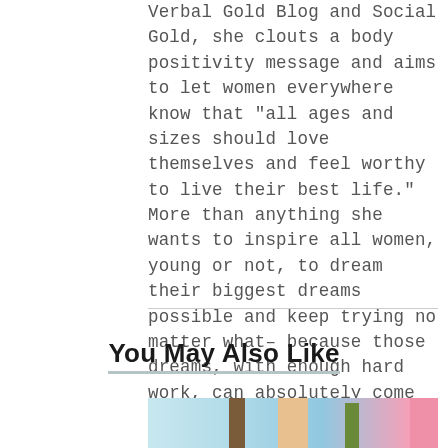Verbal Gold Blog and Social Gold, she clouts a body positivity message and aims to let women everywhere know that “all ages and sizes should love themselves and feel worthy to live their best life.” More than anything she wants to inspire all women, young or not, to dream their biggest dreams possible and keep trying no matter what– because those dreams, with enough hard work, can absolutely come true.
You May Also Like
[Figure (photo): Beach/tropical scene with palm trees and a hand making a peace sign, with a pink strip on the right edge]